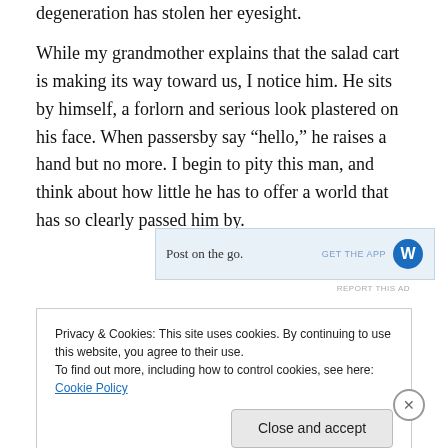degeneration has stolen her eyesight.
While my grandmother explains that the salad cart is making its way toward us, I notice him. He sits by himself, a forlorn and serious look plastered on his face. When passersby say “hello,” he raises a hand but no more. I begin to pity this man, and think about how little he has to offer a world that has so clearly passed him by.
[Figure (other): Advertisement banner reading 'Post on the go.' with 'GET THE APP' text and a W logo]
REPORT THIS AD
Privacy & Cookies: This site uses cookies. By continuing to use this website, you agree to their use.
To find out more, including how to control cookies, see here: Cookie Policy